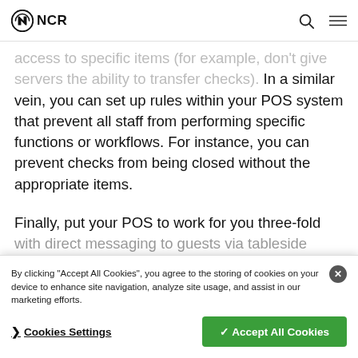NCR
access to specific items (for example, don't give servers the ability to transfer checks). In a similar vein, you can set up rules within your POS system that prevent all staff from performing specific functions or workflows. For instance, you can prevent checks from being closed without the appropriate items.
Finally, put your POS to work for you three-fold with direct messaging to guests via tableside pa... and time of their receipt is inaccurate. With one simple POS message, you can provide a contactless experience m... come to expect, create a n... touchpoint that
By clicking "Accept All Cookies", you agree to the storing of cookies on your device to enhance site navigation, analyze site usage, and assist in our marketing efforts.